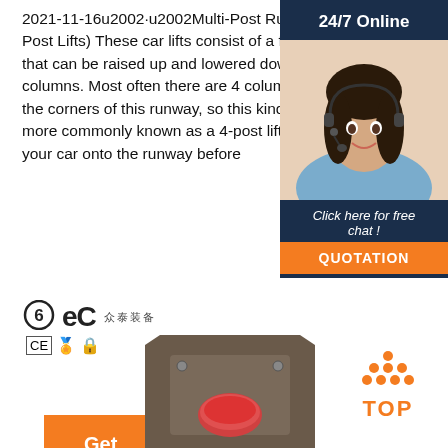2021-11-16u2002·u2002Multi-Post Runway Lifts (4-Post Lifts) These car lifts consist of a flat runway that can be raised up and lowered down a set of columns. Most often there are 4 columns situated at the corners of this runway, so this kind of car lift is more commonly known as a 4-post lift. You drive your car onto the runway before
[Figure (other): Orange 'Get Price' button]
[Figure (other): 24/7 Online chat widget with female agent photo, 'Click here for free chat!' text, and orange QUOTATION button]
[Figure (logo): BEC logo with Chinese characters and CE certification icons]
[Figure (photo): Product image of a control panel box with red button]
[Figure (other): Orange TOP back-to-top button with orange dots arranged in triangle]